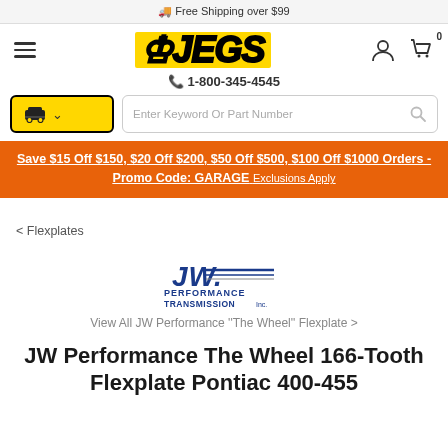Free Shipping over $99
[Figure (logo): JEGS logo in yellow bold italic font with black stroke, hamburger menu icon, user account icon, cart icon with 0]
1-800-345-4545
[Figure (screenshot): Yellow car selector button with dropdown and search box with placeholder text 'Enter Keyword Or Part Number']
Save $15 Off $150, $20 Off $200, $50 Off $500, $100 Off $1000 Orders - Promo Code: GARAGE Exclusions Apply
< Flexplates
[Figure (logo): JW Performance Transmission Inc. logo]
View All JW Performance ''The Wheel'' Flexplate >
JW Performance The Wheel 166-Tooth Flexplate Pontiac 400-455